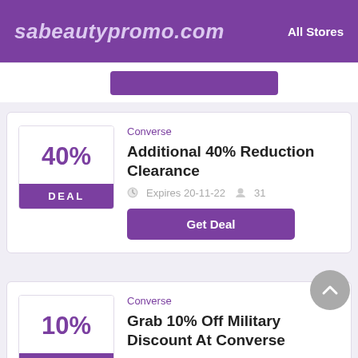sabeautypromo.com  All Stores
[Figure (screenshot): Partial coupon card from previous listing with purple Get Deal button]
Converse
Additional 40% Reduction Clearance
Expires 20-11-22   31
Get Deal
Converse
Grab 10% Off Military Discount At Converse